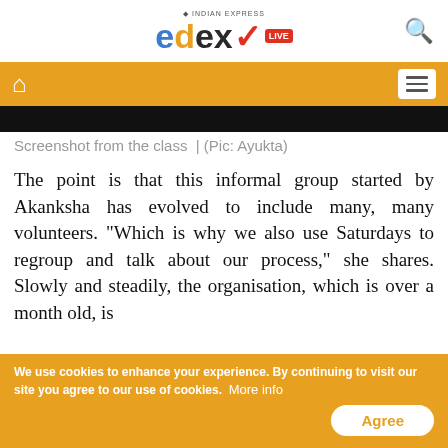edex LIVE | Indian Express
[Figure (screenshot): Black image strip — screenshot from a class]
Screenshot from the class  | (Pic: Ayukta)
The point is that this informal group started by Akanksha has evolved to include many, many volunteers. "Which is why we also use Saturdays to regroup and talk about our process," she shares. Slowly and steadily, the organisation, which is over a month old, is
We use cookies to enhance your experience. By continuing to visit our site you agree to our use of cookies.  More info